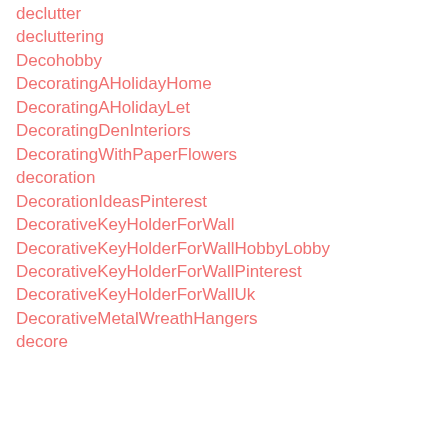declutter
decluttering
Decohobby
DecoratingAHolidayHome
DecoratingAHolidayLet
DecoratingDenInteriors
DecoratingWithPaperFlowers
decoration
DecorationIdeasPinterest
DecorativeKeyHolderForWall
DecorativeKeyHolderForWallHobbyLobby
DecorativeKeyHolderForWallPinterest
DecorativeKeyHolderForWallUk
DecorativeMetalWreathHangers
decore